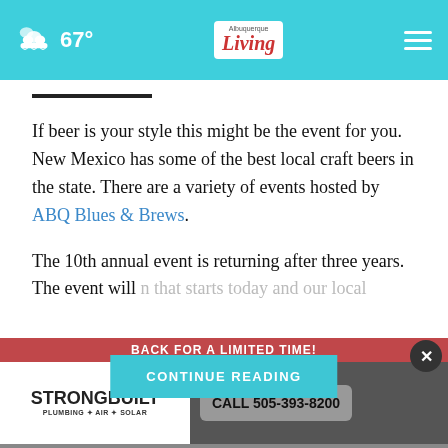67° | Albuquerque Living | Navigation menu
If beer is your style this might be the event for you. New Mexico has some of the best local craft beers in the state. There are a variety of events hosted by ABQ Blues & Brews.
The 10th annual event is returning after three years. The event will [CONTINUE READING] n that starts today and our local
[Figure (screenshot): CONTINUE READING button overlay in teal/cyan color]
[Figure (advertisement): Strongbuilt Plumbing Air Solar ad - BACK FOR A LIMITED TIME! Call 505-393-8200]